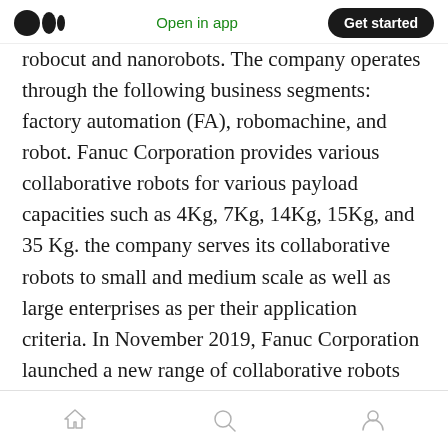Medium logo | Open in app | Get started
robocut and nanorobots. The company operates through the following business segments: factory automation (FA), robomachine, and robot. Fanuc Corporation provides various collaborative robots for various payload capacities such as 4Kg, 7Kg, 14Kg, 15Kg, and 35 Kg. the company serves its collaborative robots to small and medium scale as well as large enterprises as per their application criteria. In November 2019, Fanuc Corporation launched a new range of collaborative robots for arc welding.
Home | Search | Profile